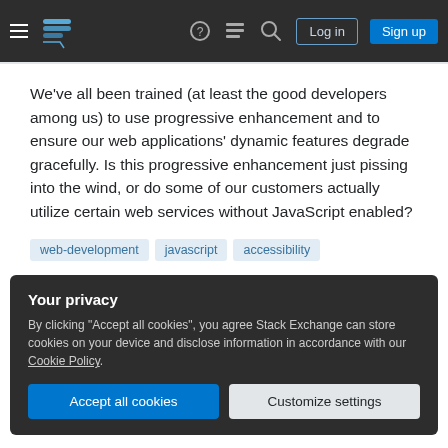Stack Exchange navigation bar with hamburger menu, logo, help, chat, search icons, Log in and Sign up buttons
We've all been trained (at least the good developers among us) to use progressive enhancement and to ensure our web applications' dynamic features degrade gracefully. Is this progressive enhancement just pissing into the wind, or do some of our customers actually utilize certain web services without JavaScript enabled?
web-development
javascript
accessibility
Your privacy
By clicking "Accept all cookies", you agree Stack Exchange can store cookies on your device and disclose information in accordance with our Cookie Policy.
Accept all cookies
Customize settings